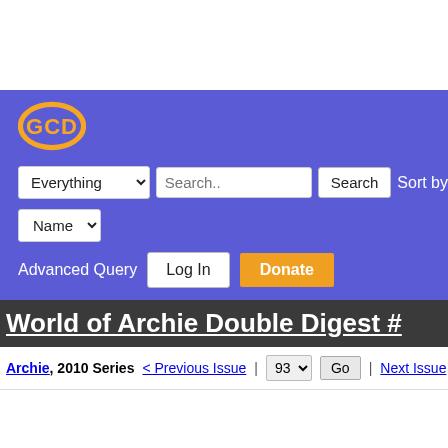[Figure (screenshot): GCD (Grand Comics Database) website screenshot showing navigation header with logo, search bar with 'Everything' dropdown, Search button, Sort by controls, Name dropdown, Advanced Query link, Log In and Donate buttons. Below shows a page for 'World of Archie Double Digest #' with Archie 2010 Series navigation showing Previous Issue, issue number 93 dropdown, Go button, and Next Issue link.]
World of Archie Double Digest #
Archie, 2010 Series  < Previous Issue | 93 | Go | Next Issue >